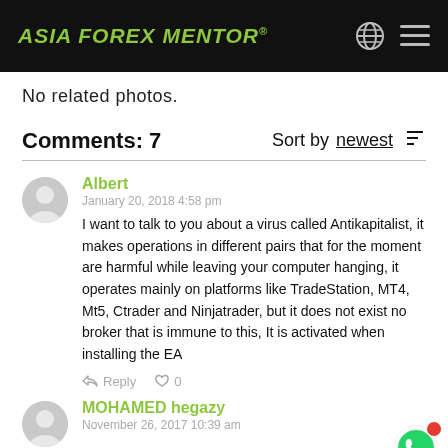ASIA FOREX MENTOR®
No related photos.
Comments: 7    Sort by newest
Albert
January 20, 2018 4:58 pm
I want to talk to you about a virus called Antikapitalist, it makes operations in different pairs that for the moment are harmful while leaving your computer hanging, it operates mainly on platforms like TradeStation, MT4, Mt5, Ctrader and Ninjatrader, but it does not exist no broker that is immune to this, It is activated when installing the EA
MOHAMED hegazy
November 26, 2017 10:39 am